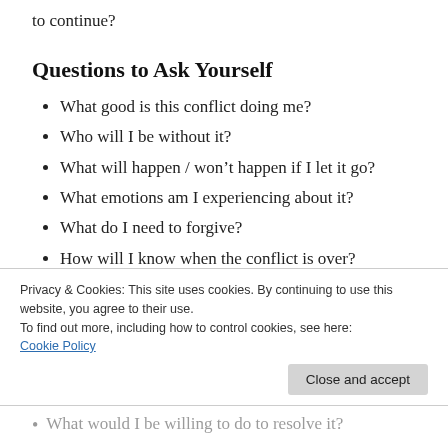to continue?
Questions to Ask Yourself
What good is this conflict doing me?
Who will I be without it?
What will happen / won't happen if I let it go?
What emotions am I experiencing about it?
What do I need to forgive?
How will I know when the conflict is over?
What power does this conflict have over me?
What will my day look like without it?
Privacy & Cookies: This site uses cookies. By continuing to use this website, you agree to their use.
To find out more, including how to control cookies, see here:
Cookie Policy
What would I be willing to do to resolve it?